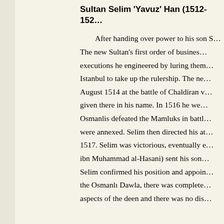Sultan Selim 'Yavuz' Han (1512-152...
After handing over power to his son S... The new Sultan's first order of busines... executions he engineered by luring them... Istanbul to take up the rulership. The ne... August 1514 at the battle of Chaldiran v... given there in his name. In 1516 he we... Osmanlis defeated the Mamluks in battl... were annexed. Selim then directed his at... 1517. Selim was victorious, eventually e... ibn Muhammad al-Hasani) sent his son... Selim confirmed his position and appoin... the Osmanlı Dawla, there was complete... aspects of the deen and there was no dis...